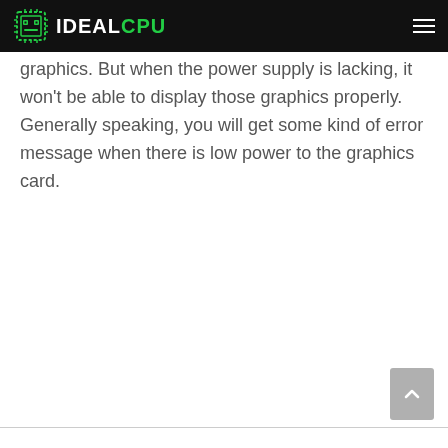IDEALCPU
graphics. But when the power supply is lacking, it won't be able to display those graphics properly. Generally speaking, you will get some kind of error message when there is low power to the graphics card.